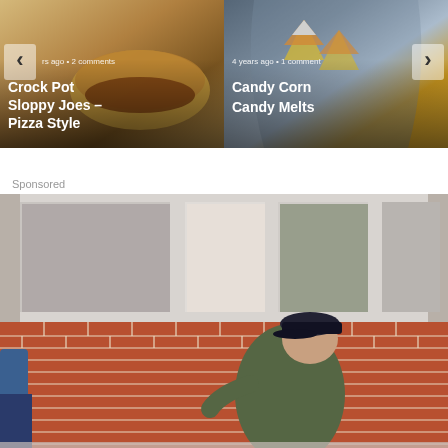[Figure (photo): Carousel card showing Crock Pot Sloppy Joes – Pizza Style with food image background, left navigation arrow, metadata text 'rs ago • 2 comments', and bold white title]
[Figure (photo): Carousel card showing Candy Corn Candy Melts with candy image background, right navigation arrow, metadata text '4 years ago • 1 comment', and bold white title]
Sponsored
[Figure (photo): Sponsored image showing a brick house exterior with a man in a dark cap and olive shirt working on the brick wall, and a partial reflection/second figure visible]